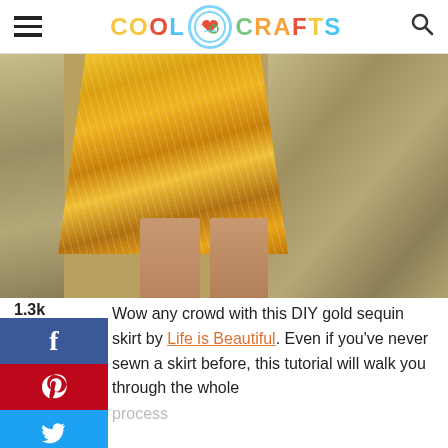COOL CRAFTS
[Figure (photo): A person wearing a gold sequin skirt, photographed from waist down, standing in front of a stone wall background.]
1.3k
f (Facebook share button)
P (Pinterest share button)
Twitter share button
Wow any crowd with this DIY gold sequin skirt by Life is Beautiful. Even if you've never sewn a skirt before, this tutorial will walk you through the whole process